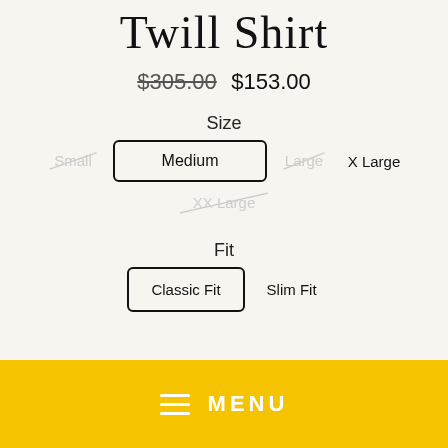Twill Shirt
$305.00  $153.00
Size
Small (unavailable), Medium (selected), Large (unavailable), X Large, XX Large (unavailable)
Fit
Classic Fit (selected), Slim Fit
MENU